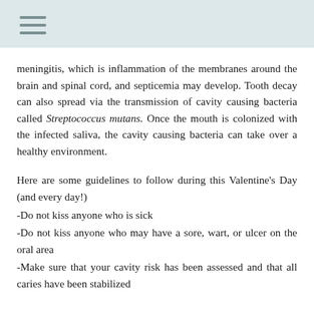≡
meningitis, which is inflammation of the membranes around the brain and spinal cord, and septicemia may develop. Tooth decay can also spread via the transmission of cavity causing bacteria called Streptococcus mutans. Once the mouth is colonized with the infected saliva, the cavity causing bacteria can take over a healthy environment.
Here are some guidelines to follow during this Valentine's Day (and every day!)
-Do not kiss anyone who is sick
-Do not kiss anyone who may have a sore, wart, or ulcer on the oral area
-Make sure that your cavity risk has been assessed and that all caries have been stabilized